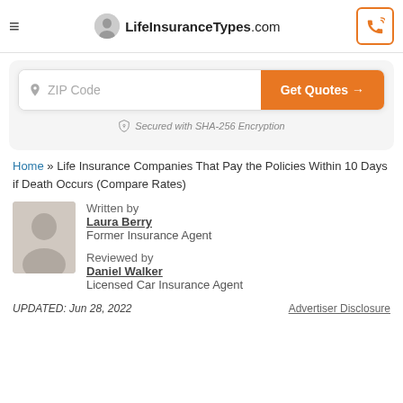LifeInsuranceTypes.com
[Figure (screenshot): ZIP Code input field with orange 'Get Quotes →' button]
Secured with SHA-256 Encryption
Home » Life Insurance Companies That Pay the Policies Within 10 Days if Death Occurs (Compare Rates)
Written by
Laura Berry
Former Insurance Agent
Reviewed by
Daniel Walker
Licensed Car Insurance Agent
UPDATED: Jun 28, 2022
Advertiser Disclosure